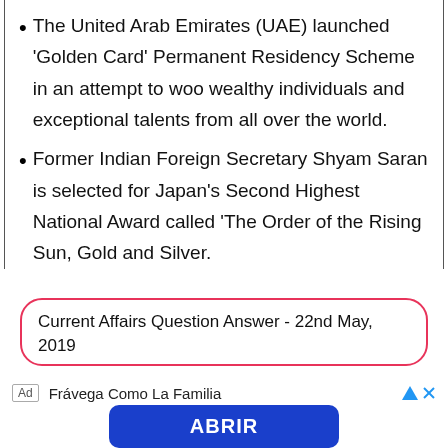The United Arab Emirates (UAE) launched 'Golden Card' Permanent Residency Scheme in an attempt to woo wealthy individuals and exceptional talents from all over the world.
Former Indian Foreign Secretary Shyam Saran is selected for Japan's Second Highest National Award called 'The Order of the Rising Sun, Gold and Silver.
Current Affairs Question Answer - 22nd May, 2019
Ad   Frávega Como La Familia
ABRIR